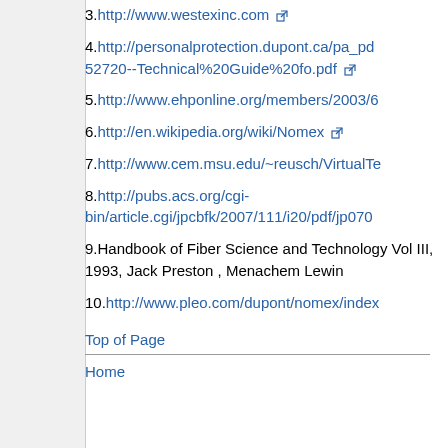3. http://www.westexinc.com
4. http://personalprotection.dupont.ca/pa_pd 52720--Technical%20Guide%20fo.pdf
5. http://www.ehponline.org/members/2003/6
6. http://en.wikipedia.org/wiki/Nomex
7. http://www.cem.msu.edu/~reusch/VirtualTe
8. http://pubs.acs.org/cgi-bin/article.cgi/jpcbfk/2007/111/i20/pdf/jp070
9. Handbook of Fiber Science and Technology Vol III, 1993, Jack Preston , Menachem Lewin
10. http://www.pleo.com/dupont/nomex/index
Top of Page
Home